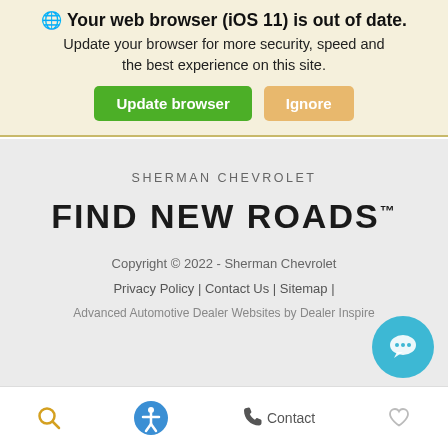🌐 Your web browser (iOS 11) is out of date. Update your browser for more security, speed and the best experience on this site. Update browser | Ignore
SHERMAN CHEVROLET
FIND NEW ROADS™
Copyright © 2022 - Sherman Chevrolet
Privacy Policy | Contact Us | Sitemap |
Advanced Automotive Dealer Websites by Dealer Inspire
Search | Accessibility | Contact | Favorites